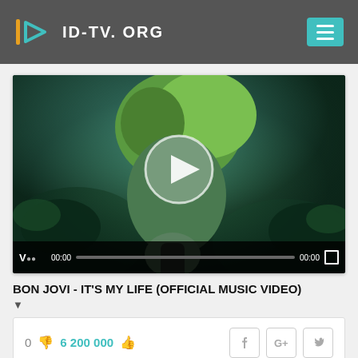ID-TV.ORG
[Figure (screenshot): Video player showing Bon Jovi music video thumbnail with a man singing into a microphone, green-tinted concert crowd in background, play button overlay, and video controls bar at bottom showing 00:00 timestamp]
BON JOVI - IT'S MY LIFE (OFFICIAL MUSIC VIDEO)
0  6 200 000